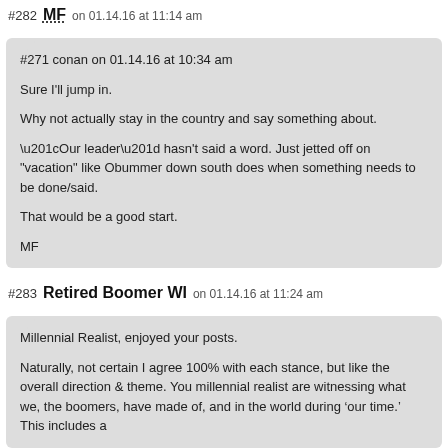#282 MF on 01.14.16 at 11:14 am
#271 conan on 01.14.16 at 10:34 am

Sure I'll jump in.

Why not actually stay in the country and say something about.

“Our leader” hasn't said a word. Just jetted off on "vacation" like Obummer down south does when something needs to be done/said.

That would be a good start.

MF
#283 Retired Boomer WI on 01.14.16 at 11:24 am
Millennial Realist, enjoyed your posts.

Naturally, not certain I agree 100% with each stance, but like the overall direction & theme. You millennial realist are witnessing what we, the boomers, have made of, and in the world during ‘our time.’ This includes a